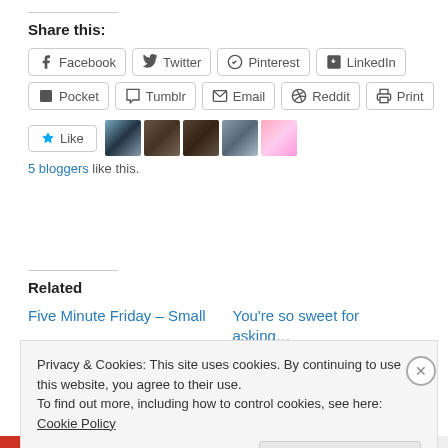Share this:
Facebook | Twitter | Pinterest | LinkedIn | Pocket | Tumblr | Email | Reddit | Print
[Figure (screenshot): Like button with star icon and 5 blogger avatars below]
5 bloggers like this.
Related
Five Minute Friday – Small
You're so sweet for asking...
Privacy & Cookies: This site uses cookies. By continuing to use this website, you agree to their use.
To find out more, including how to control cookies, see here: Cookie Policy
Close and accept